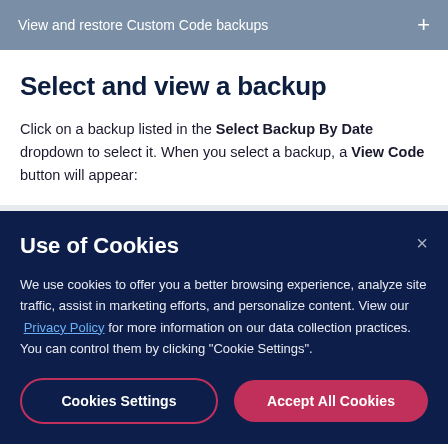View and restore Custom Code backups
Select and view a backup
Click on a backup listed in the Select Backup By Date dropdown to select it. When you select a backup, a View Code button will appear:
Use of Cookies
We use cookies to offer you a better browsing experience, analyze site traffic, assist in marketing efforts, and personalize content. View our Privacy Policy for more information on our data collection practices. You can control them by clicking "Cookie Settings".
Cookies Settings | Accept All Cookies